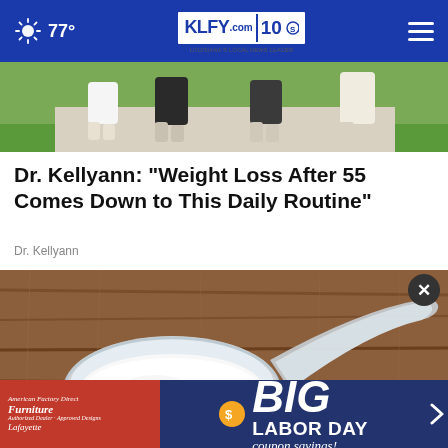77° KLFY.com 10
[Figure (photo): Top portion of photo showing people walking, only legs/feet visible from the knees down on a sidewalk with grass]
Dr. Kellyann: "Weight Loss After 55 Comes Down to This Daily Routine"
Dr. Kellyann
[Figure (photo): Close-up photo of a plastic measuring scoop filled with white powder (protein powder or supplement) resting on a wooden surface with some powder spilled beside it]
[Figure (photo): Advertisement banner: American Factory Direct Furniture - BIG LABOR DAY coupon savings! Lafayette]